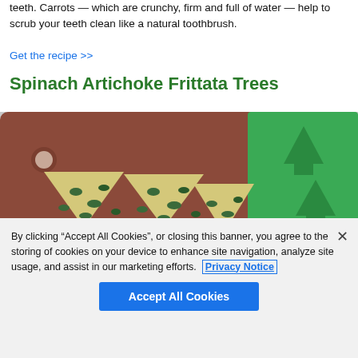teeth. Carrots — which are crunchy, firm and full of water — help to scrub your teeth clean like a natural toothbrush.
Get the recipe >>
Spinach Artichoke Frittata Trees
[Figure (photo): Three spinach artichoke frittata bites shaped like Christmas trees sitting on a brown wooden cutting board, next to a green silicone Christmas tree mold with multiple tree-shaped cavities.]
By clicking “Accept All Cookies”, or closing this banner, you agree to the storing of cookies on your device to enhance site navigation, analyze site usage, and assist in our marketing efforts.  Privacy Notice
Accept All Cookies